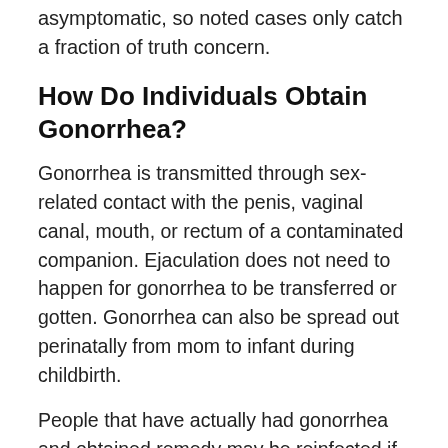asymptomatic, so noted cases only catch a fraction of truth concern.
How Do Individuals Obtain Gonorrhea?
Gonorrhea is transmitted through sex-related contact with the penis, vaginal canal, mouth, or rectum of a contaminated companion. Ejaculation does not need to happen for gonorrhea to be transferred or gotten. Gonorrhea can also be spread out perinatally from mom to infant during childbirth.
People that have actually had gonorrhea and obtained remedy may be reinfected if they have sex-related contact with an individual